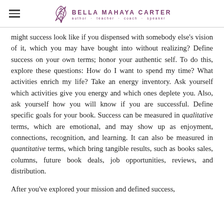Bella Mahaya Carter — author · teacher · coach · speaker
might success look like if you dispensed with somebody else's vision of it, which you may have bought into without realizing? Define success on your own terms; honor your authentic self. To do this, explore these questions: How do I want to spend my time? What activities enrich my life? Take an energy inventory. Ask yourself which activities give you energy and which ones deplete you. Also, ask yourself how you will know if you are successful. Define specific goals for your book. Success can be measured in qualitative terms, which are emotional, and may show up as enjoyment, connections, recognition, and learning. It can also be measured in quantitative terms, which bring tangible results, such as books sales, columns, future book deals, job opportunities, reviews, and distribution.
After you've explored your mission and defined success,